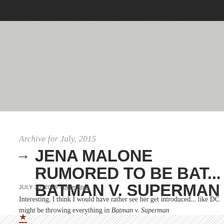Archive for July, 2015
→ JENA MALONE RUMORED TO BE BAT... BATMAN V. SUPERMAN
JULY 30, 2015 - permalink
Interesting. I think I would have rather see her get introduced... like DC might be throwing everything in Batman v. Superman
★